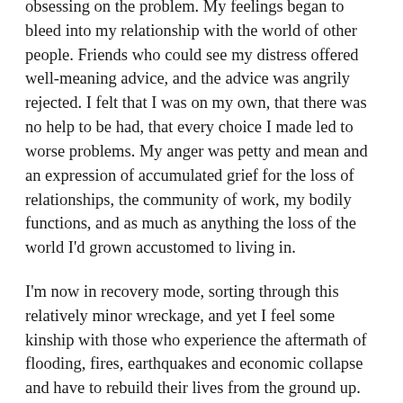obsessing on the problem. My feelings began to bleed into my relationship with the world of other people. Friends who could see my distress offered well-meaning advice, and the advice was angrily rejected. I felt that I was on my own, that there was no help to be had, that every choice I made led to worse problems. My anger was petty and mean and an expression of accumulated grief for the loss of relationships, the community of work, my bodily functions, and as much as anything the loss of the world I'd grown accustomed to living in.
I'm now in recovery mode, sorting through this relatively minor wreckage, and yet I feel some kinship with those who experience the aftermath of flooding, fires, earthquakes and economic collapse and have to rebuild their lives from the ground up. Although small in comparison, my problems evoke reactions based on